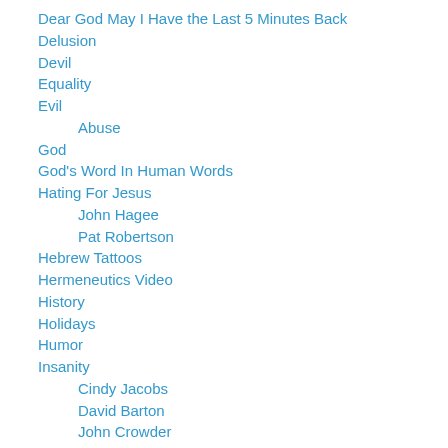Dear God May I Have the Last 5 Minutes Back
Delusion
Devil
Equality
Evil
Abuse
God
God's Word In Human Words
Hating For Jesus
John Hagee
Pat Robertson
Hebrew Tattoos
Hermeneutics Video
History
Holidays
Humor
Insanity
Cindy Jacobs
David Barton
John Crowder